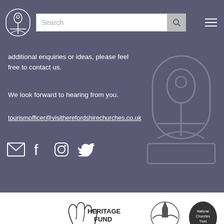[Figure (screenshot): Website header with church logo, search bar, and hamburger menu on dark purple background]
additional enquiries or ideas, please feel free to contact us.
We look forward to hearing from you.
tourismofficer@visitherefordshirechurches.co.uk
[Figure (illustration): Social media icons: email envelope, Facebook, Instagram, Twitter on dark purple background]
[Figure (logo): Heritage Fund lottery logo with crossed fingers hand]
[Figure (logo): Circular logo with church and hands silhouette]
[Figure (logo): National Churches Trust circular badge logo]
[Figure (logo): Herefordshire Historic Churches Trust logo with cross]
[Figure (logo): Shropshire Churches Tourism Group logo]
[Figure (logo): Herefordshire Churches Tourism Group logo with cross]